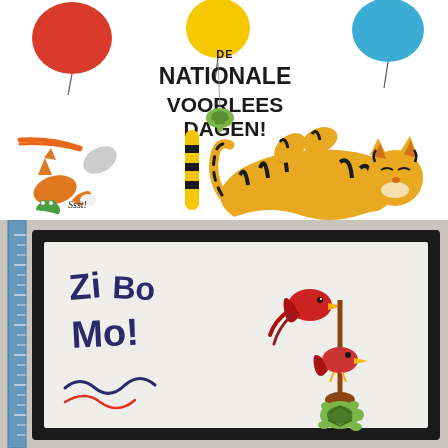[Figure (illustration): Promotional poster for De Nationale Voorleesdagen (National Reading Aloud Days), 24 januari t/m 3 februari 2018. Features colorful illustrated animals including a tiger lying on its back, a fox, a frog, a pelican, a turtle, with balloons (red, yellow, blue) and text 'Ssst!' and 'z z z'.]
[Figure (photo): Photograph of a framed children's drawing/whiteboard on a wall. The frame is black. Inside shows child's handwriting and colorful drawings of birds and turtles. A ruler is visible on the left side.]